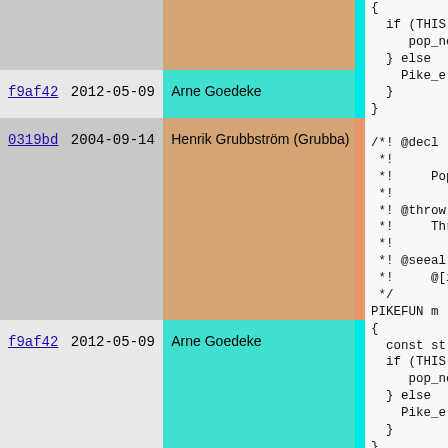| commit | date | author | code |
| --- | --- | --- | --- |
| f9af42 | 2012-05-09 | Arne Goedeke | if (THIS...  pop_no... |
| 0319bd | 2004-09-14 | Henrik Grubbström (Grubba) | } else ...  Pike_e...  }  } |
| f9af42 | 2012-05-09 | Arne Goedeke | /*! @decl...  *!...  *!   Pop...  *! @throw...  *!   Thro...  *!...  *! @seeal...  *!   @[is...  */  PIKEFUN m...  {  const st...  if (THIS...  pop_no...  } else ...  Pike_e...  }  } |
{
    if (THIS
        pop_no
} else 
   Pike_e
   }
}
/*! @decl
 *!
 *!    Pop
 *!
 *! @throw
 *!    Thro
 *!
 *! @seeal
 *!    @[is
 *!/
PIKEFUN m
{
    const st
    if (THIS
       pop_no
    } else 
       Pike_e
    }
}

(*! @decl